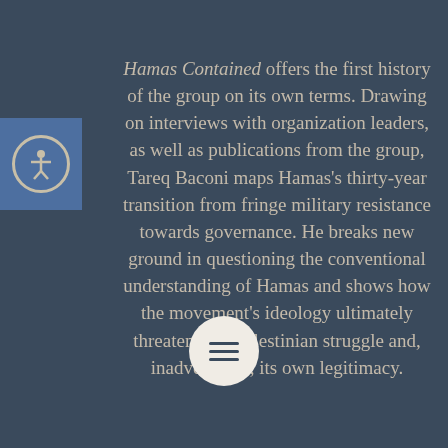Hamas Contained offers the first history of the group on its own terms. Drawing on interviews with organization leaders, as well as publications from the group, Tareq Baconi maps Hamas's thirty-year transition from fringe military resistance towards governance. He breaks new ground in questioning the conventional understanding of Hamas and shows how the movement's ideology ultimately threatens the Palestinian struggle and, inadvertently, its own legitimacy.
Hamas's reliance on armed struggle as a means of liberation has failed in the face of a relentless occupation designed to fragment the Palestinian people, Baconi argues, under Israel's approach managing rather than resolving the conflict. Hamas's demand for